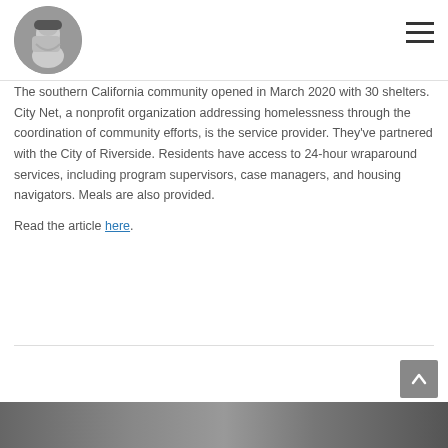The southern California community opened in March 2020 with 30 shelters. City Net, a nonprofit organization addressing homelessness through the coordination of community efforts, is the service provider. They’ve partnered with the City of Riverside. Residents have access to 24-hour wraparound services, including program supervisors, case managers, and housing navigators. Meals are also provided.

Read the article here.
[Figure (photo): Bottom strip of photographs showing people, partially visible at the bottom of the page]